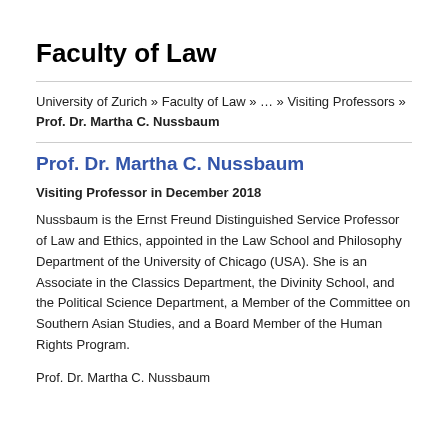Faculty of Law
University of Zurich » Faculty of Law » … » Visiting Professors » Prof. Dr. Martha C. Nussbaum
Prof. Dr. Martha C. Nussbaum
Visiting Professor in December 2018
Nussbaum is the Ernst Freund Distinguished Service Professor of Law and Ethics, appointed in the Law School and Philosophy Department of the University of Chicago (USA). She is an Associate in the Classics Department, the Divinity School, and the Political Science Department, a Member of the Committee on Southern Asian Studies, and a Board Member of the Human Rights Program.
Prof. Dr. Martha C. Nussbaum